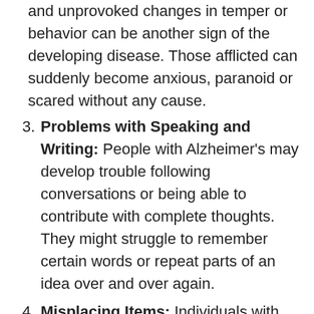and unprovoked changes in temper or behavior can be another sign of the developing disease. Those afflicted can suddenly become anxious, paranoid or scared without any cause.
Problems with Speaking and Writing: People with Alzheimer's may develop trouble following conversations or being able to contribute with complete thoughts. They might struggle to remember certain words or repeat parts of an idea over and over again.
Misplacing Items: Individuals with Alzheimer's may start leaving items in wrong or somewhat unusual locations. They might not be able to retrace their steps, and could be in danger of losing necessary or valuable